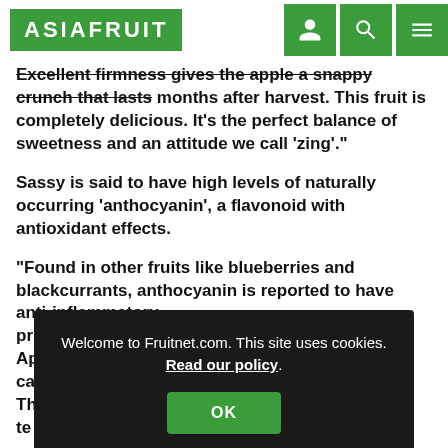ASIAFRUIT
Excellent firmness gives the apple a snappy crunch that lasts months after harvest. This fruit is completely delicious. It's the perfect balance of sweetness and an attitude we call 'zing'."
Sassy is said to have high levels of naturally occurring 'anthocyanin', a flavonoid with antioxidant effects.
"Found in other fruits like blueberries and blackcurrants, anthocyanin is reported to have anti-inflammatory pr... Ap... ca... Th... te...
Welcome to Fruitnet.com. This site uses cookies. Read our policy.